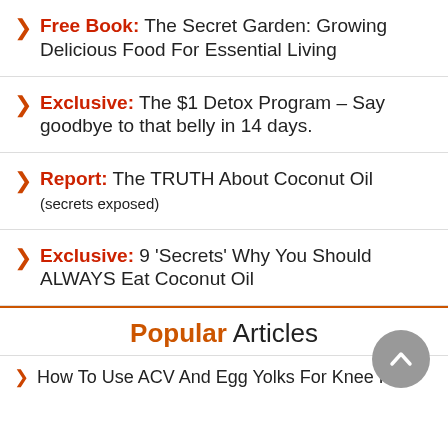Free Book: The Secret Garden: Growing Delicious Food For Essential Living
Exclusive: The $1 Detox Program – Say goodbye to that belly in 14 days.
Report: The TRUTH About Coconut Oil (secrets exposed)
Exclusive: 9 'Secrets' Why You Should ALWAYS Eat Coconut Oil
Popular Articles
How To Use ACV And Egg Yolks For Knee Pain